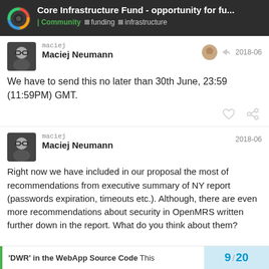Core Infrastructure Fund - opportunity for fu... | Community  funding  infrastructure
maciej
Maciej Neumann
2018-06
We have to send this no later than 30th June, 23:59 (11:59PM) GMT.
maciej
Maciej Neumann
2018-06
Right now we have included in our proposal the most of recommendations from executive summary of NY report (passwords expiration, timeouts etc.). Although, there are even more recommendations about security in OpenMRS written further down in the report. What do you think about them?
'DWR' in the WebApp Source Code This
9 / 20